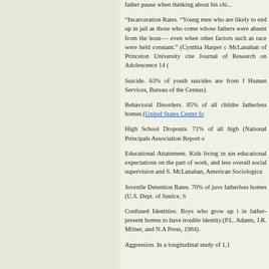father pause when thinking about his chi...
“Incarceration Rates. “Young men who are likely to end up in jail as those who come whose fathers were absent from the hous— even when other factors such as race were held constant.” (Cynthia Harper c McLanahan of Princeton University cite Journal of Research on Adolescence 14 (
Suicide. 63% of youth suicides are from f Human Services, Bureau of the Census).
Behavioral Disorders. 85% of all childre fatherless homes (United States Center fo
High School Dropouts. 71% of all high (National Principals Association Report o
Educational Attainment. Kids living in sin educational expectations on the part of work, and less overall social supervision and S. McLanahan, American Sociologica
Juvenile Detention Rates. 70% of juve fatherless homes (U.S. Dept. of Justice, S
Confused Identities. Boys who grow up i in father-present homes to have trouble identity.(P.L. Adams, J.R. Milner, and N.A Press, 1984).
Aggression. In a longitudinal study of 1,1